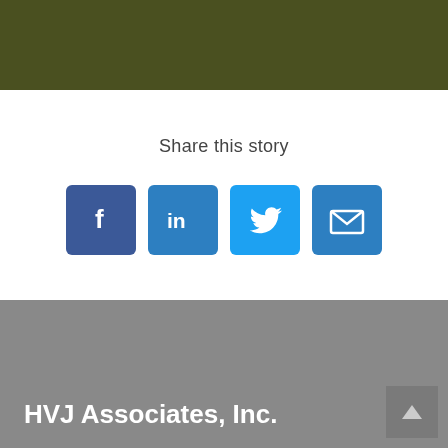[Figure (other): Dark olive green header bar]
Share this story
[Figure (infographic): Four social media share buttons: Facebook (f), LinkedIn (in), Twitter (bird icon), Email (envelope icon)]
HVJ Associates, Inc.